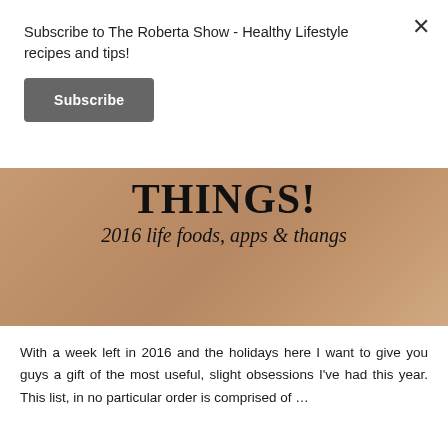Subscribe to The Roberta Show - Healthy Lifestyle recipes and tips!
Subscribe
[Figure (photo): Hero image showing food items with text overlay reading 'THINGS! 2016 life foods, apps & thangs']
With a week left in 2016 and the holidays here I want to give you guys a gift of the most useful, slight obsessions I've had this year. This list, in no particular order is comprised of …
VIEW POST